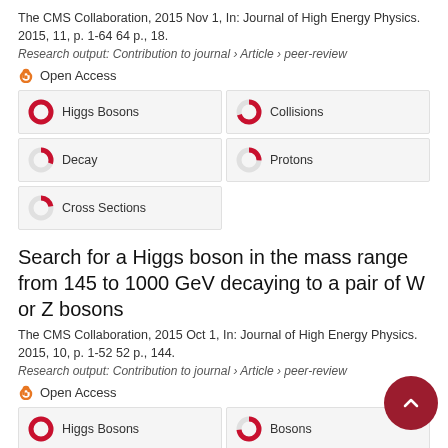The CMS Collaboration, 2015 Nov 1, In: Journal of High Energy Physics. 2015, 11, p. 1-64 64 p., 18.
Research output: Contribution to journal › Article › peer-review
Open Access
Higgs Bosons
Collisions
Decay
Protons
Cross Sections
Search for a Higgs boson in the mass range from 145 to 1000 GeV decaying to a pair of W or Z bosons
The CMS Collaboration, 2015 Oct 1, In: Journal of High Energy Physics. 2015, 10, p. 1-52 52 p., 144.
Research output: Contribution to journal › Article › peer-review
Open Access
Higgs Bosons
Bosons
Decay
Protons